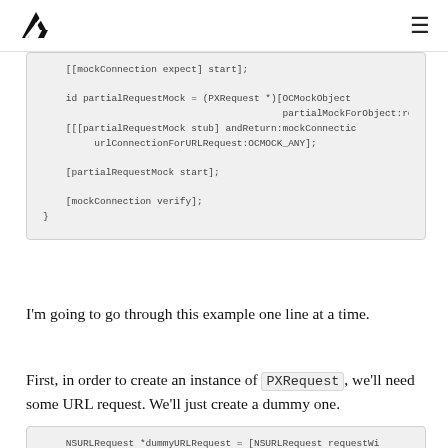AF [logo] / hamburger menu
[Figure (screenshot): Code block showing Objective-C test code including [[mockConnection expect] start]; id partialRequestMock = (PXRequest *)[OCMockObject partialMockForObject:re [[[partialRequestMock stub] andReturn:mockConnectio urlConnectionForURLRequest:OCMOCK_ANY]; [partialRequestMock start]; [mockConnection verify]; }]
I'm going to go through this example one line at a time.
First, in order to create an instance of PXRequest, we'll need some URL request. We'll just create a dummy one.
[Figure (screenshot): Code block showing: NSURLRequest *dummyURLRequest = [NSURLRequest requestWi]